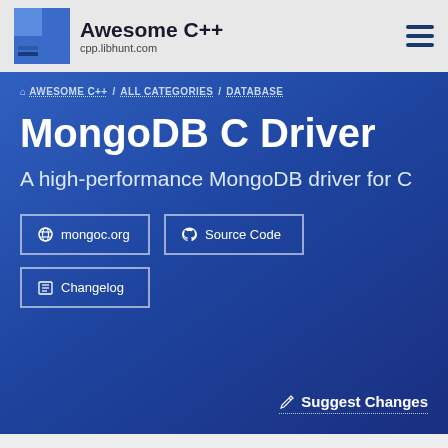Awesome C++ | cpp.libhunt.com
AWESOME C++ / ALL CATEGORIES / DATABASE
MongoDB C Driver
A high-performance MongoDB driver for C
mongoc.org
Source Code
Changelog
Suggest Changes